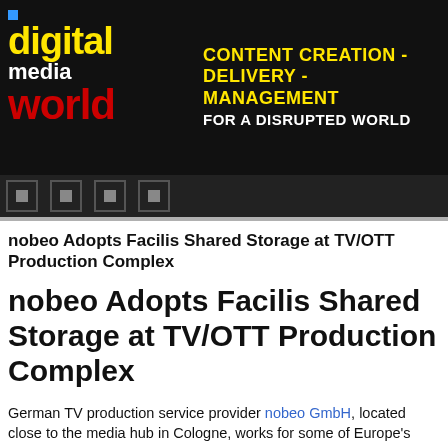digital media world | CONTENT CREATION - DELIVERY - MANAGEMENT FOR A DISRUPTED WORLD
nobeo Adopts Facilis Shared Storage at TV/OTT Production Complex
nobeo Adopts Facilis Shared Storage at TV/OTT Production Complex
German TV production service provider nobeo GmbH, located close to the media hub in Cologne, works for some of Europe's major broadcasters and content creators such as Endemol Shine Germany GmbH, UFA Show & Factual GmbH, filmpool entertainment